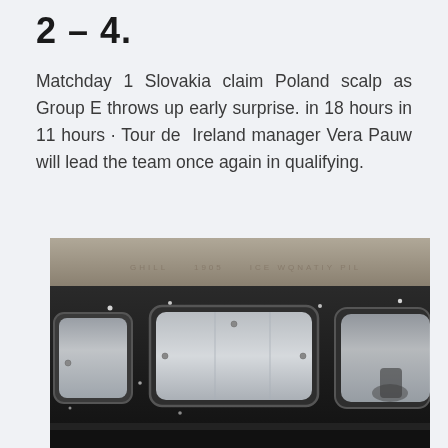2 – 4.
Matchday 1 Slovakia claim Poland scalp as Group E throws up early surprise. in 18 hours in 11 hours · Tour de  Ireland manager Vera Pauw will lead the team once again in qualifying.
[Figure (photo): Black and white photograph of a train carriage exterior showing three windows with rounded corners, dark body, snow or rain falling, taken from platform level.]